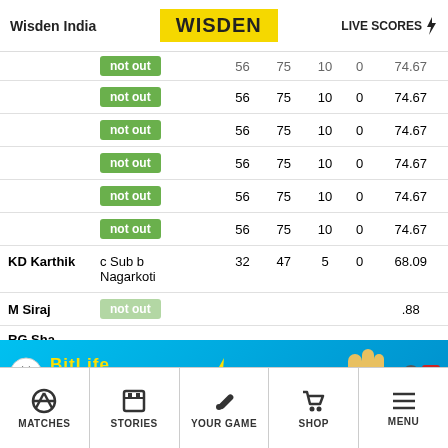Wisden India | WISDEN | LIVE SCORES
| Player | Dismissal | R | B | 4s | 6s | SR |
| --- | --- | --- | --- | --- | --- | --- |
|  | not out | 56 | 75 | 10 | 0 | 74.67 |
|  | not out | 56 | 75 | 10 | 0 | 74.67 |
|  | not out | 56 | 75 | 10 | 0 | 74.67 |
|  | not out | 56 | 75 | 10 | 0 | 74.67 |
|  | not out | 56 | 75 | 10 | 0 | 74.67 |
|  | not out | 56 | 75 | 10 | 0 | 74.67 |
| KD Karthik | c Sub b Nagarkoti | 32 | 47 | 5 | 0 | 68.09 |
| M Siraj |  |  |  |  |  | .88 |
| RG Sha |  |  |  |  |  |  |
[Figure (screenshot): BitLife advertisement banner: NOW WITH GOD MODE]
MATCHES | STORIES | YOUR GAME | SHOP | MENU